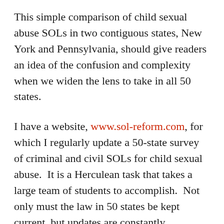This simple comparison of child sexual abuse SOLs in two contiguous states, New York and Pennsylvania, should give readers an idea of the confusion and complexity when we widen the lens to take in all 50 states.
I have a website, www.sol-reform.com, for which I regularly update a 50-state survey of criminal and civil SOLs for child sexual abuse.  It is a Herculean task that takes a large team of students to accomplish.  Not only must the law in 50 states be kept current, but updates are constantly occurring, as the law is in constant flux.
Whatever limitation is set in a particular state,